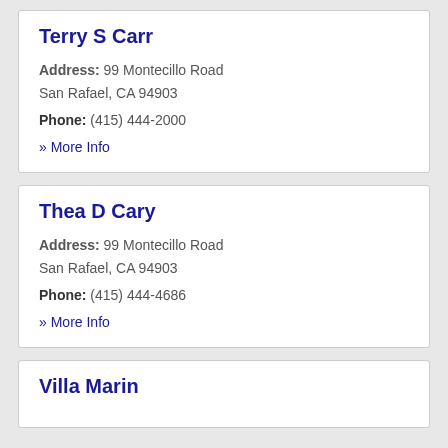Terry S Carr
Address: 99 Montecillo Road San Rafael, CA 94903
Phone: (415) 444-2000
» More Info
Thea D Cary
Address: 99 Montecillo Road San Rafael, CA 94903
Phone: (415) 444-4686
» More Info
Villa Marin